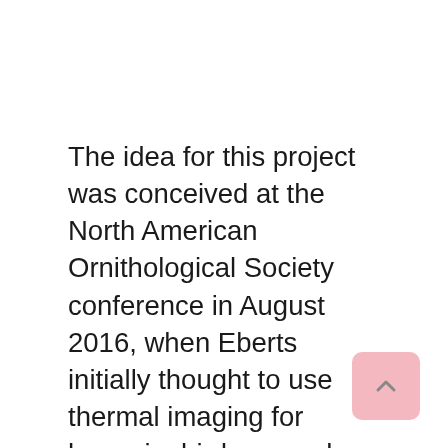The idea for this project was conceived at the North American Ornithological Society conference in August 2016, when Eberts initially thought to use thermal imaging for hummingbird research. The LMU campus has a large hummingbird population, which CURes had already been monitoring for some time when Eberts proposed his question about torpor in nesting mothers. Torpor is a temporary state of reduced activity, metabolism, and body temperature, which certain animals will enter to conserve energy and survive in harsh conditions. Whether female hummingbirds use torpor during nesting is a matter of debate, as there